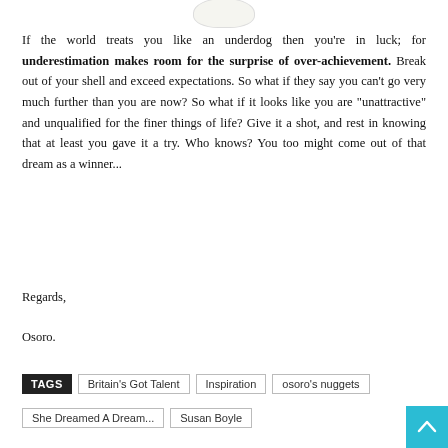[Figure (illustration): Partial bottom of an egg-shaped white/cream oval object visible at the top of the page]
If the world treats you like an underdog then you’re in luck; for underestimation makes room for the surprise of over-achievement. Break out of your shell and exceed expectations. So what if they say you can’t go very much further than you are now? So what if it looks like you are “unattractive” and unqualified for the finer things of life? Give it a shot, and rest in knowing that at least you gave it a try. Who knows? You too might come out of that dream as a winner...
Regards,
Osoro.
TAGS  Britain’s Got Talent  Inspiration  osoro’s nuggets  She Dreamed A Dream...  Susan Boyle